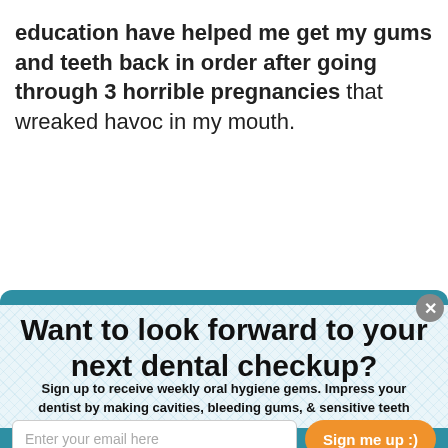education have helped me get my gums and teeth back in order after going through 3 horrible pregnancies that wreaked havoc in my mouth.
Want to look forward to your next dental checkup?
Sign up to receive weekly oral hygiene gems. Impress your dentist by making cavities, bleeding gums, & sensitive teeth things of the past!
We take your privacy very seriously and will never sell, trade, or abuse your information.